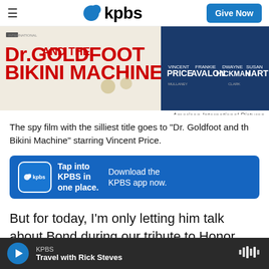kpbs | Give Now
[Figure (photo): Movie poster for 'Dr. Goldfoot and the Bikini Machine' featuring red title text and cast names including Vincent Price, Frankie Avalon, Dwayne Hickman, Susan Hart]
American International Pictures
The spy film with the silliest title goes to "Dr. Goldfoot and th Bikini Machine" starring Vincent Price.
[Figure (infographic): KPBS app advertisement banner: 'Tap into KPBS in one place. Download the KPBS app now.']
But for today, I'm only letting him talk about Bond during our tribute to Honor Blackman, because after that it's going to be about spy films that are a
KPBS | Travel with Rick Steves